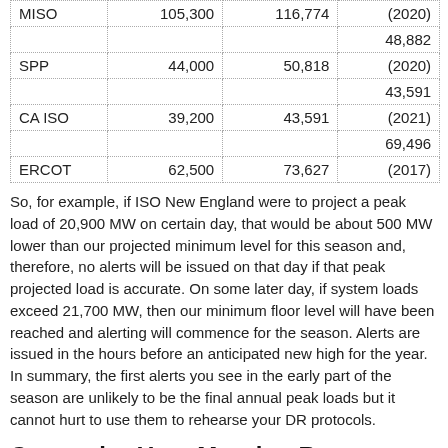|  |  |  |  |
| --- | --- | --- | --- |
| MISO | 105,300 | 116,774 | (2020) |
| SPP | 44,000 | 50,818 | 48,882
(2020) |
| CA ISO | 39,200 | 43,591 | 43,591
(2021) |
| ERCOT | 62,500 | 73,627 | 69,496
(2017) |
So, for example, if ISO New England were to project a peak load of 20,900 MW on certain day, that would be about 500 MW lower than our projected minimum level for this season and, therefore, no alerts will be issued on that day if that peak projected load is accurate. On some later day, if system loads exceed 21,700 MW, then our minimum floor level will have been reached and alerting will commence for the season. Alerts are issued in the hours before an anticipated new high for the year. In summary, the first alerts you see in the early part of the season are unlikely to be the final annual peak loads but it cannot hurt to use them to rehearse your DR protocols.
Customize Your Morning Report Delivery
With a new feature introduced in 2020, you are able to change the "Minimum Morning Report Rating" from "1" to "2" which will if you prefer to start to hear from us more the